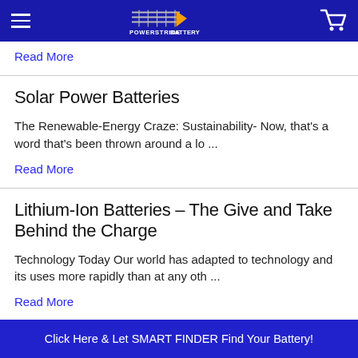Powerstride Battery
Read More
Solar Power Batteries
The Renewable-Energy Craze: Sustainability- Now, that's a word that's been thrown around a lo ...
Read More
Lithium-Ion Batteries – The Give and Take Behind the Charge
Technology Today Our world has adapted to technology and its uses more rapidly than at any oth ...
Read More
Click Here & Let SMART FINDER Find Your Battery!